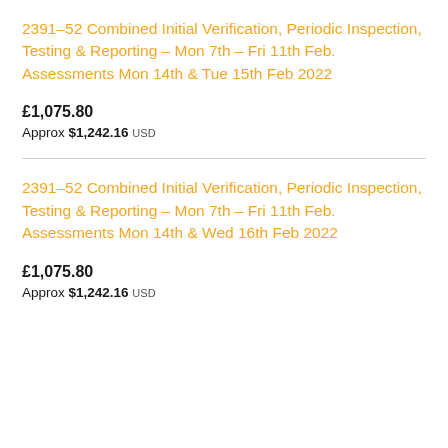2391–52 Combined Initial Verification, Periodic Inspection, Testing & Reporting – Mon 7th – Fri 11th Feb. Assessments Mon 14th & Tue 15th Feb 2022
£1,075.80
Approx $1,242.16 USD
2391–52 Combined Initial Verification, Periodic Inspection, Testing & Reporting – Mon 7th – Fri 11th Feb. Assessments Mon 14th & Wed 16th Feb 2022
£1,075.80
Approx $1,242.16 USD